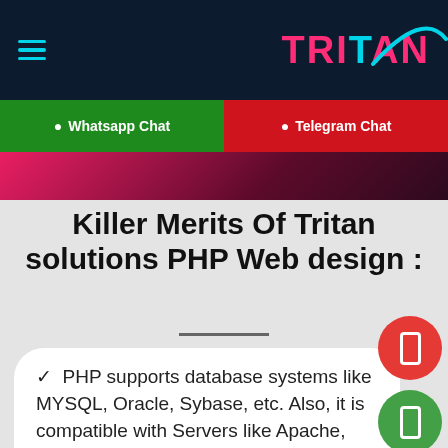TRITAN
Whatsapp Chat   Telegram Chat
Killer Merits Of Tritan solutions PHP Web design :
✓ PHP supports database systems like MYSQL, Oracle, Sybase, etc. Also, it is compatible with Servers like Apache, IIS, etc.